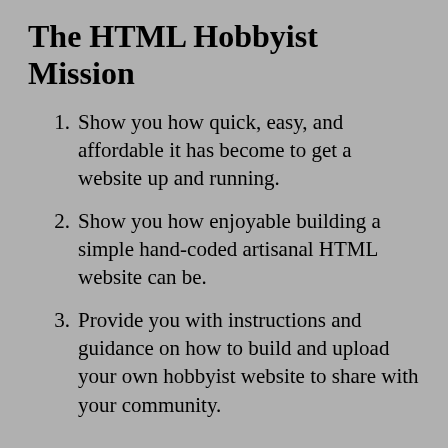The HTML Hobbyist Mission
Show you how quick, easy, and affordable it has become to get a website up and running.
Show you how enjoyable building a simple hand-coded artisanal HTML website can be.
Provide you with instructions and guidance on how to build and upload your own hobbyist website to share with your community.
Web What Was
I had (and still have) a dream that the web could be less of a television channel and more of an interactive sea of shared knowledge. I imagine it immersing us as